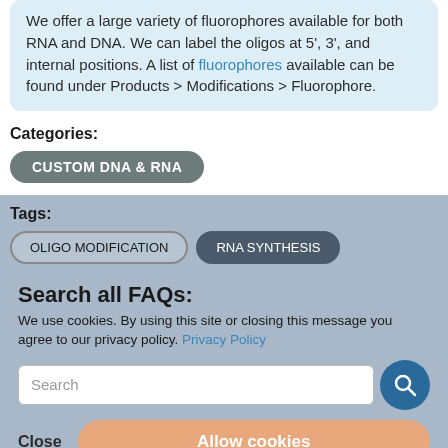We offer a large variety of fluorophores available for both RNA and DNA. We can label the oligos at 5', 3', and internal positions. A list of fluorophores available can be found under Products > Modifications > Fluorophore.
Categories:
CUSTOM DNA & RNA
Tags:
OLIGO MODIFICATION
RNA SYNTHESIS
Search all FAQs:
We use cookies. By using this site or closing this message you agree to our privacy policy. Privacy Policy
Search
Close
Allow cookies
FAQs by category